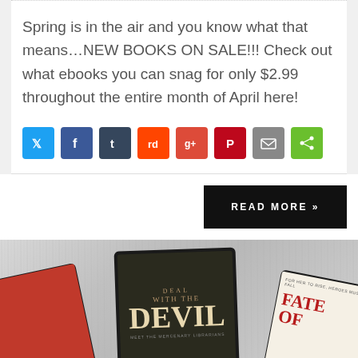Spring is in the air and you know what that means…NEW BOOKS ON SALE!!! Check out what ebooks you can snag for only $2.99 throughout the entire month of April here!
[Figure (other): Row of social media share icons: Twitter (blue), Facebook (dark blue), Tumblr (dark blue-grey), Reddit (orange-red), Google+ (red), Pinterest (dark red), Email (grey), ShareThis (green)]
[Figure (other): READ MORE button in black with white uppercase text and double chevron]
[Figure (photo): Three e-reader tablets displayed on a grey textured background. Left tablet shows book cover 'AN ILLUSION' by CATE GLASS with red background. Center tablet shows 'DEAL WITH THE DEVIL' book cover in dark fantasy style. Right tablet partially shows 'FATE OF...' book cover in light beige/cream.]